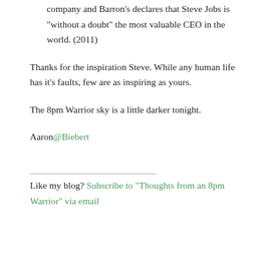Apple becomes the world #2 most valuable company and Barron's declares that Steve Jobs is "without a doubt" the most valuable CEO in the world. (2011)
Thanks for the inspiration Steve. While any human life has it's faults, few are as inspiring as yours.
The 8pm Warrior sky is a little darker tonight.
Aaron@Biebert
Like my blog? Subscribe to "Thoughts from an 8pm Warrior" via email